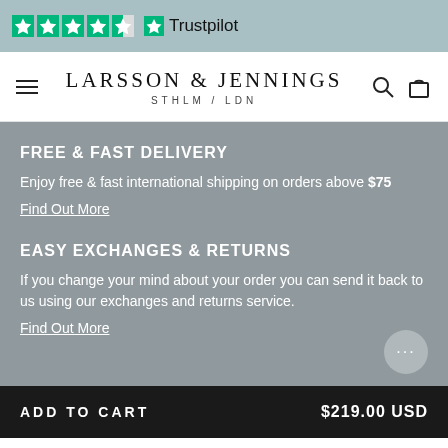[Figure (screenshot): Trustpilot rating bar with 4.5 green stars and Trustpilot logo on blue-grey background]
[Figure (screenshot): Larsson & Jennings STHLM/LDN navigation bar with hamburger menu, brand name, search and cart icons]
FREE & FAST DELIVERY
Enjoy free & fast international shipping on orders above $75
Find Out More
EASY EXCHANGES & RETURNS
If you change your mind about your order you can send it back to us using our exchanges and returns service.
Find Out More
ADD TO CART    $219.00 USD